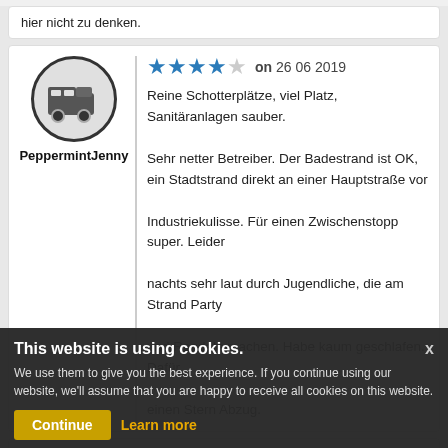hier nicht zu denken.
★★★★☆ on 26 06 2019
[Figure (illustration): Camper van / motorhome icon inside a circle, used as user avatar]
PeppermintJenny
Reine Schotterplätze, viel Platz, Sanitäranlagen sauber. Sehr netter Betreiber. Der Badestrand ist OK, ein Stadtstrand direkt an einer Hauptstraße vor Industriekulisse. Für einen Zwischenstopp super. Leider nachts sehr laut durch Jugendliche, die am Strand Party und Randale machen. Habe kaum geschlafen. Dafür einen Stern Abzug.
★★★★☆ on 25 06 2019
[Figure (illustration): Camper van / motorhome icon inside a circle, used as user avatar (partially visible)]
mharbach
Ordnung. Waschmaschine und Trockner leider etwas klein. War aber sehr nett. Was laut sein in den
This website is using cookies. We use them to give you the best experience. If you continue using our website, we'll assume that you are happy to receive all cookies on this website.
Continue
Learn more